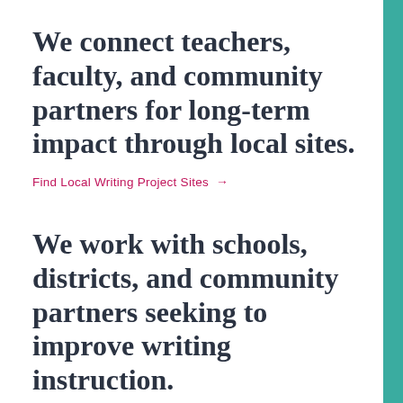We connect teachers, faculty, and community partners for long-term impact through local sites.
Find Local Writing Project Sites →
We work with schools, districts, and community partners seeking to improve writing instruction.
See Programs & Services for Teachers and Districts →